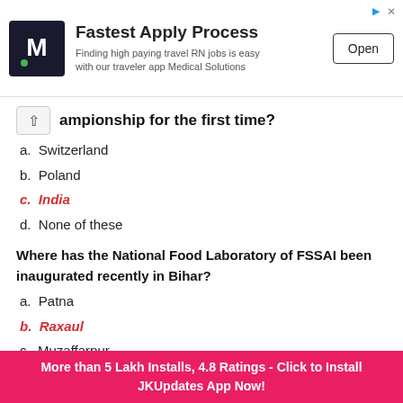[Figure (other): Advertisement banner for Medical Solutions traveler app with M logo, 'Fastest Apply Process' headline, subtext, and Open button]
ampionship for the first time?
a. Switzerland
b. Poland
c. India (correct answer, shown in red italic bold)
d. None of these
Where has the National Food Laboratory of FSSAI been inaugurated recently in Bihar?
a. Patna
b. Raxaul (correct answer, shown in red italic bold)
c. Muzaffarpur
d. None of these
Who inaugurated Sant Kabir Academy and Research...
More than 5 Lakh Installs, 4.8 Ratings - Click to Install JKUpdates App Now!